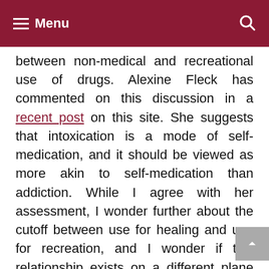Menu
between non-medical and recreational use of drugs. Alexine Fleck has commented on this discussion in a recent post on this site. She suggests that intoxication is a mode of self-medication, and it should be viewed as more akin to self-medication than addiction. While I agree with her assessment, I wonder further about the cutoff between use for healing and use for recreation, and I wonder if this relationship exists on a different plane than Khantzian's addiction hypothesis. The discussion should continue (perhaps in the comments?) , but Mitchell's framework suggests, at the very least, that self-medication is much more